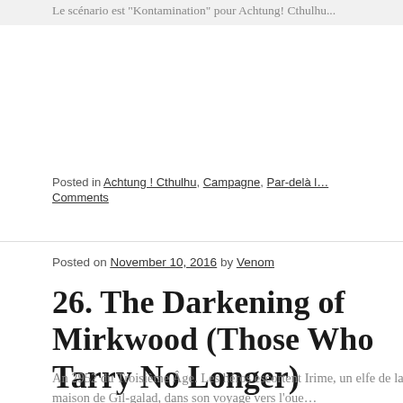Le scénario est "Kontamination" pour Achtung! Cthulhu...
Posted in Achtung ! Cthulhu, Campagne, Par-delà l… Comments
Posted on November 10, 2016 by Venom
26. The Darkening of Mirkwood (Those Who Tarry No Longer)
An 2952 du Troisième Âge. Les héros escortent Irime, un elfe de la maison de Gil-galad, dans son voyage vers l'oue...